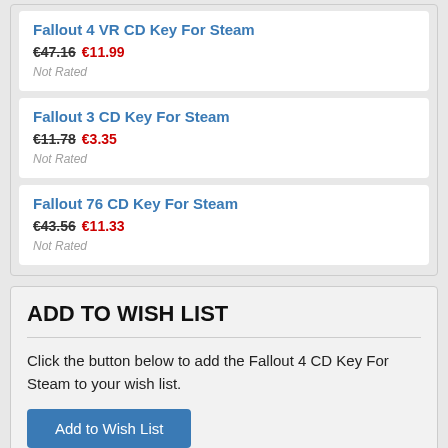Fallout 4 VR CD Key For Steam
€47.16 €11.99
Not Rated
Fallout 3 CD Key For Steam
€11.78 €3.35
Not Rated
Fallout 76 CD Key For Steam
€43.56 €11.33
Not Rated
ADD TO WISH LIST
Click the button below to add the Fallout 4 CD Key For Steam to your wish list.
Add to Wish List